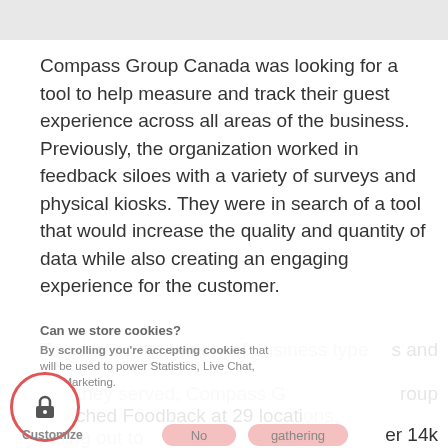[Figure (other): Gray bar at top of page]
Compass Group Canada was looking for a tool to help measure and track their guest experience across all areas of the business. Previously, the organization worked in feedback siloes with a variety of surveys and physical kiosks. They were in search of a tool that would increase the quality and quantity of data while also creating an engaging experience for the customer.
Can we store cookies?
By scrolling you're accepting cookies
will be used to power Statistics, Live Chat, and Marketing.
Customize
To address the variety of business types and that they served, Compass Group launched Foodback at 29 locations, rolling out to 100+) gathering over 14k feedbacks in the first 14 weeks. They pted to